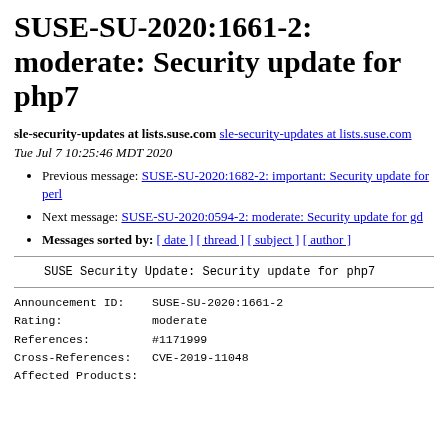SUSE-SU-2020:1661-2: moderate: Security update for php7
sle-security-updates at lists.suse.com sle-security-updates at lists.suse.com
Tue Jul 7 10:25:46 MDT 2020
Previous message: SUSE-SU-2020:1682-2: important: Security update for perl
Next message: SUSE-SU-2020:0594-2: moderate: Security update for gd
Messages sorted by: [ date ] [ thread ] [ subject ] [ author ]
SUSE Security Update: Security update for php7
Announcement ID:    SUSE-SU-2020:1661-2
Rating:             moderate
References:         #1171999
Cross-References:   CVE-2019-11048
Affected Products: